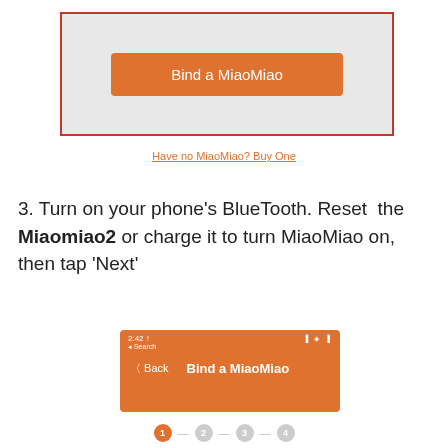[Figure (screenshot): App screen with red border showing an orange 'Bind a MiaoMiao' button on a light gray background]
Have no MiaoMiao? Buy One
3. Turn on your phone's BlueTooth. Reset the Miaomiao2 or charge it to turn MiaoMiao on, then tap 'Next'
[Figure (screenshot): Phone screenshot showing orange header bar with '2:42' time, Back button, and 'Bind a MiaoMiao' title]
[Figure (infographic): Step indicator showing steps 1-2-3-4 with step 1 highlighted in orange]